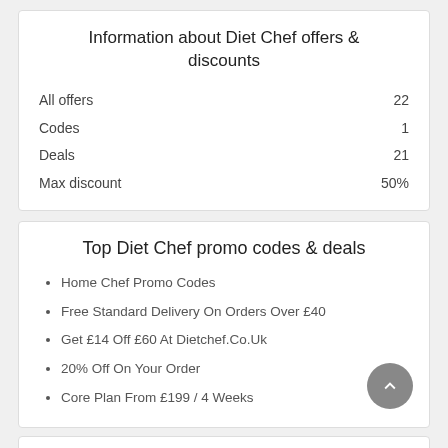Information about Diet Chef offers & discounts
|  |  |
| --- | --- |
| All offers | 22 |
| Codes | 1 |
| Deals | 21 |
| Max discount | 50% |
Top Diet Chef promo codes & deals
Home Chef Promo Codes
Free Standard Delivery On Orders Over £40
Get £14 Off £60 At Dietchef.Co.Uk
20% Off On Your Order
Core Plan From £199 / 4 Weeks
Popular stores